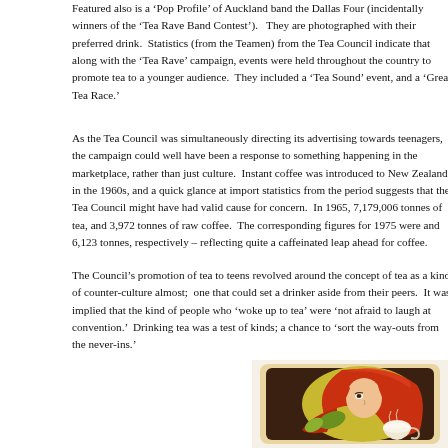Featured also is a ‘Pop Profile’ of Auckland band the Dallas Four (incidentally winners of the ‘Tea Rave Band Contest’).   They are photographed with their preferred drink.  Statistics (from the Teamen) from the Tea Council indicate that along with the ‘Tea Rave’ campaign, events were held throughout the country to promote tea to a younger audience.  They included a ‘Tea Sound’ event, and a ‘Great Tea Race.’
As the Tea Council was simultaneously directing its advertising towards teenagers, the campaign could well have been a response to something happening in the marketplace, rather than just culture.  Instant coffee was introduced to New Zealand in the 1960s, and a quick glance at import statistics from the period suggests that the Tea Council might have had valid cause for concern.  In 1965, 7,179,006 tonnes of tea, and 3,972 tonnes of raw coffee.  The corresponding figures for 1975 were and 6,123 tonnes, respectively – reflecting quite a caffeinated leap ahead for coffee.
The Council’s promotion of tea to teens revolved around the concept of tea as a kind of counter-culture almost;  one that could set a drinker aside from their peers.  It was implied that the kind of people who ‘woke up to tea’ were ‘not afraid to laugh at convention.’  Drinking tea was a test of kinds; a chance to ‘sort the way-outs from the never-ins.’
[Figure (photo): A colourful illustration or poster showing a woman with long flowing red-orange hair holding a teacup, with vibrant psychedelic-style colours including red, orange, yellow and green.]